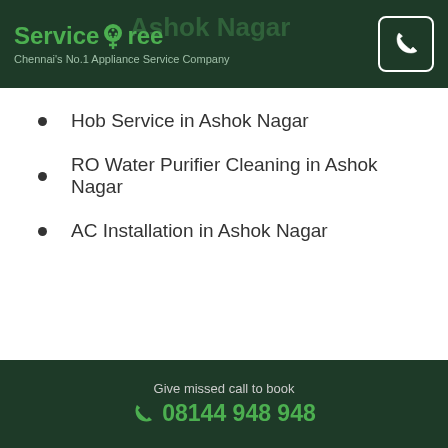ServiceTree — Chennai's No.1 Appliance Service Company
Hob Service in Ashok Nagar
RO Water Purifier Cleaning in Ashok Nagar
AC Installation in Ashok Nagar
Water Heater Repair near Ashok Nagar
Give missed call to book 08144 948 948